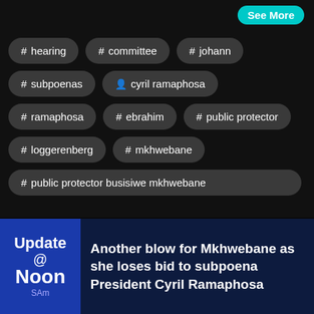See More
# hearing
# committee
# johann
# subpoenas
person cyril ramaphosa
# ramaphosa
# ebrahim
# public protector
# loggerenberg
# mkhwebane
# public protector busisiwe mkhwebane
[Figure (screenshot): Update @ Noon SAm logo box in blue]
Another blow for Mkhwebane as she loses bid to subpoena President Cyril Ramaphosa